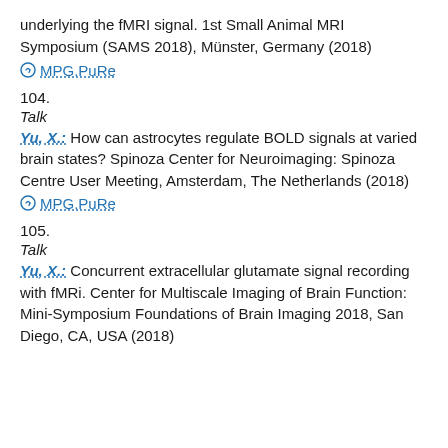underlying the fMRI signal. 1st Small Animal MRI Symposium (SAMS 2018), Münster, Germany (2018)
⊙ MPG.PuRe
104.
Talk
Yu, X.: How can astrocytes regulate BOLD signals at varied brain states? Spinoza Center for Neuroimaging: Spinoza Centre User Meeting, Amsterdam, The Netherlands (2018)
⊙ MPG.PuRe
105.
Talk
Yu, X.: Concurrent extracellular glutamate signal recording with fMRi. Center for Multiscale Imaging of Brain Function: Mini-Symposium Foundations of Brain Imaging 2018, San Diego, CA, USA (2018)